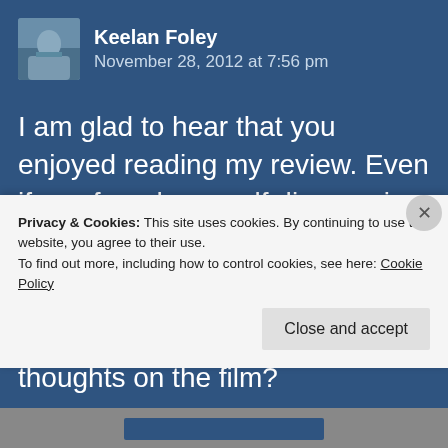Keelan Foley
November 28, 2012 at 7:56 pm
I am glad to hear that you enjoyed reading my review. Even if you found yourself disagreeing with most or all of my arguments 🙂
I would love to hear your thoughts on the film?
Privacy & Cookies: This site uses cookies. By continuing to use this website, you agree to their use.
To find out more, including how to control cookies, see here: Cookie Policy